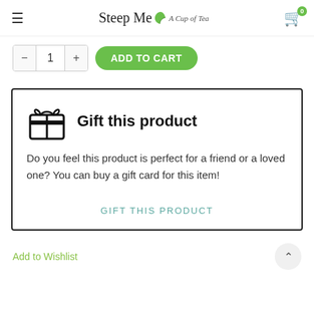Steep Me A Cup of Tea
[Figure (screenshot): Add to cart quantity selector with minus, 1, plus buttons and green ADD TO CART button]
[Figure (infographic): Gift this product box with gift card icon, title 'Gift this product', description text, and GIFT THIS PRODUCT link]
Gift this product
Do you feel this product is perfect for a friend or a loved one? You can buy a gift card for this item!
GIFT THIS PRODUCT
Add to Wishlist